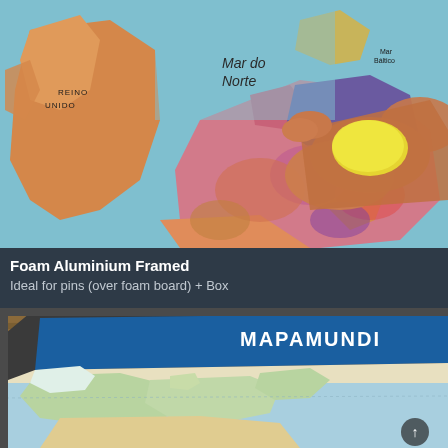[Figure (photo): Close-up of a colorful world map (showing UK, North Sea 'Mar do Norte', and Western Europe) being wiped with a yellow sponge or cloth by a hand.]
Foam Aluminium Framed
Ideal for pins (over foam board) + Box
[Figure (photo): An aluminium-framed world map ('MAPAMUNDI') displayed against a wooden background, showing Europe and North Africa, with a navigation arrow in the lower right corner.]